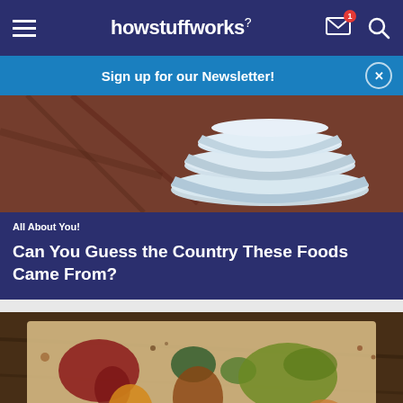howstuffworks
Sign up for our Newsletter!
[Figure (photo): Photo of stacked white ceramic bowls on a dark marble surface]
All About You!
Can You Guess the Country These Foods Came From?
[Figure (photo): Photo of a world map made from colorful spices and grains on a rustic surface]